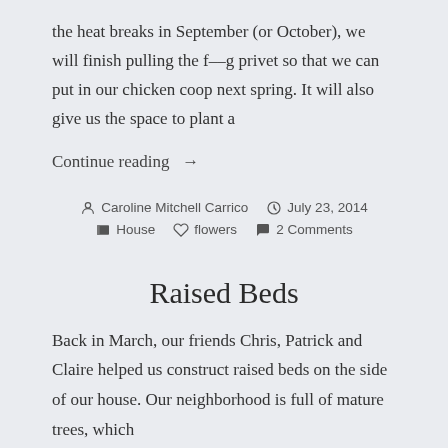the heat breaks in September (or October), we will finish pulling the f––g privet so that we can put in our chicken coop next spring. It will also give us the space to plant a
Continue reading →
By Caroline Mitchell Carrico   July 23, 2014   House   flowers   2 Comments
Raised Beds
Back in March, our friends Chris, Patrick and Claire helped us construct raised beds on the side of our house. Our neighborhood is full of mature trees, which